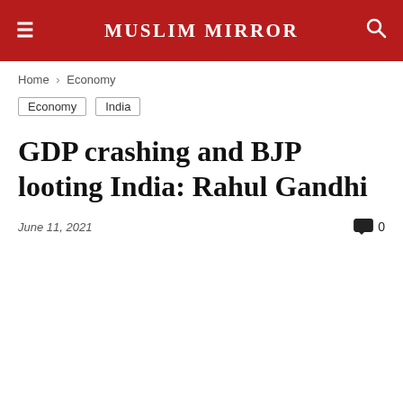MUSLIM MIRROR
Home › Economy
Economy   India
GDP crashing and BJP looting India: Rahul Gandhi
June 11, 2021   0